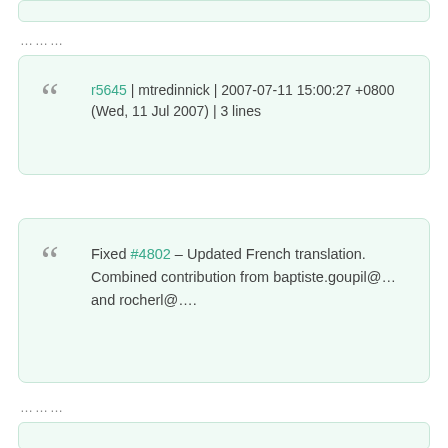.........
r5645 | mtredinnick | 2007-07-11 15:00:27 +0800 (Wed, 11 Jul 2007) | 3 lines
Fixed #4802 – Updated French translation. Combined contribution from baptiste.goupil@… and rocherl@….
.........